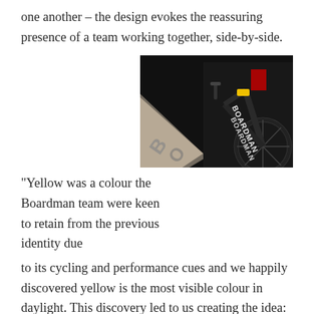one another – the design evokes the reassuring presence of a team working together, side-by-side.
“Yellow was a colour the Boardman team were keen to retain from the previous identity due to its cycling and performance cues and we happily discovered yellow is the most visible colour in daylight. This discovery led to us creating the idea: ‘Whatever time of day you ride… We’re out there with you.’
[Figure (photo): Close-up photo of a Boardman branded racing bicycle, black frame with BOARDMAN lettering, yellow and red accents visible, blurred foreground showing part of another bike or component]
“Whether early morning or late evening, the spectrum of colours available throughout the day not only gave the Boardman team a wide selection of colours to use across the